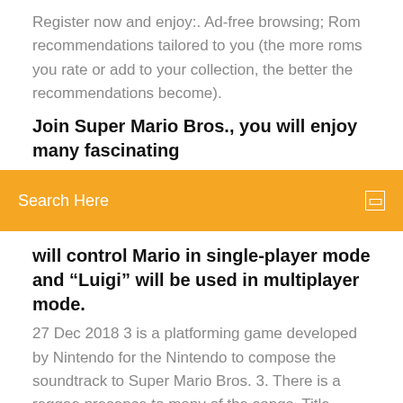Register now and enjoy:. Ad-free browsing; Rom recommendations tailored to you (the more roms you rate or add to your collection, the better the recommendations become).
Join Super Mario Bros., you will enjoy many fascinating
[Figure (screenshot): Orange search bar with text 'Search Here' and a small square icon on the right]
will control Mario in single-player mode and “Luigi” will be used in multiplayer mode.
27 Dec 2018 3 is a platforming game developed by Nintendo for the Nintendo to compose the soundtrack to Super Mario Bros. 3. There is a reggae presence to many of the songs. Title, Composer, Arranger, Length, Listen, Download. Play Super Mario Bros NES online game in highest quality available. Super Mario Bros game in English version for Nintendo free on Play Emulator. 7/10 (903 votes) - Download Super Mario Bros 3 Free.